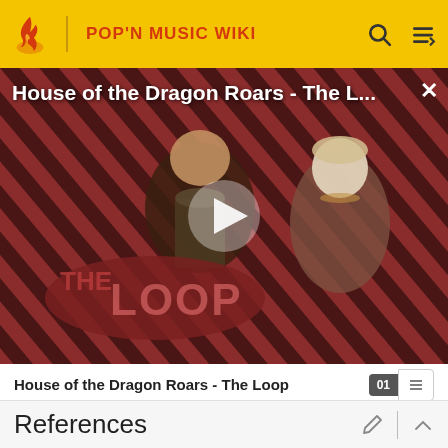POP'N MUSIC WIKI
[Figure (screenshot): Video thumbnail showing House of the Dragon characters with diagonal red and dark stripe background pattern and THE LOOP logo overlay. A play button is centered. Title reads 'House of the Dragon Roars - The L...' with an X close button.]
House of the Dragon Roars - The Loop
References